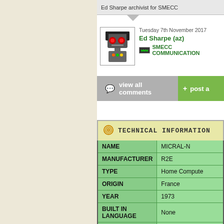Ed Sharpe archivist for SMECC
Tuesday 7th November 2017
Ed Sharpe (az)
SMECC COMMUNICATIONS
view all comments
+ post a
TECHNICAL INFORMATION
| Field | Value |
| --- | --- |
| NAME | MICRAL-N |
| MANUFACTURER | R2E |
| TYPE | Home Computer |
| ORIGIN | France |
| YEAR | 1973 |
| BUILT IN LANGUAGE | None |
| CPU | Intel 8008 |
| SPEED | 500 KHz |
| RAM | Unknown |
| ROM | Unknown |
| TEXT MODES | Depends on the |